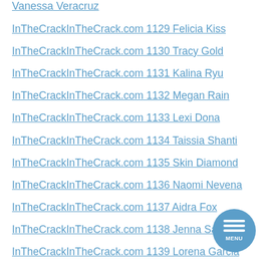Vanessa Veracruz
InTheCrackInTheCrack.com 1129 Felicia Kiss
InTheCrackInTheCrack.com 1130 Tracy Gold
InTheCrackInTheCrack.com 1131 Kalina Ryu
InTheCrackInTheCrack.com 1132 Megan Rain
InTheCrackInTheCrack.com 1133 Lexi Dona
InTheCrackInTheCrack.com 1134 Taissia Shanti
InTheCrackInTheCrack.com 1135 Skin Diamond
InTheCrackInTheCrack.com 1136 Naomi Nevena
InTheCrackInTheCrack.com 1137 Aidra Fox
InTheCrackInTheCrack.com 1138 Jenna Sativa
InTheCrackInTheCrack.com 1139 Lorena Garcia
InTheCrackInTheCrack.com 1140 Anna Rose